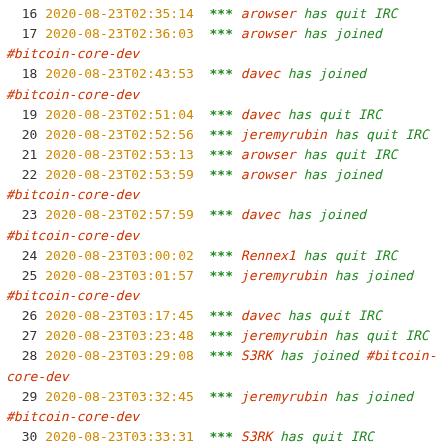16 2020-08-23T02:35:14 *** arowser has quit IRC
17 2020-08-23T02:36:03 *** arowser has joined #bitcoin-core-dev
18 2020-08-23T02:43:53 *** davec has joined #bitcoin-core-dev
19 2020-08-23T02:51:04 *** davec has quit IRC
20 2020-08-23T02:52:56 *** jeremyrubin has quit IRC
21 2020-08-23T02:53:13 *** arowser has quit IRC
22 2020-08-23T02:53:59 *** arowser has joined #bitcoin-core-dev
23 2020-08-23T02:57:59 *** davec has joined #bitcoin-core-dev
24 2020-08-23T03:00:02 *** Rennex1 has quit IRC
25 2020-08-23T03:01:57 *** jeremyrubin has joined #bitcoin-core-dev
26 2020-08-23T03:17:45 *** davec has quit IRC
27 2020-08-23T03:23:48 *** jeremyrubin has quit IRC
28 2020-08-23T03:29:08 *** S3RK has joined #bitcoin-core-dev
29 2020-08-23T03:32:45 *** jeremyrubin has joined #bitcoin-core-dev
30 2020-08-23T03:33:31 *** S3RK has quit IRC
31 2020-08-23T03:36:03 *** justanotheruser has quit IRC
32 2020-08-23T03:37:00 *** davec has joined #bitcoin-core-dev
33 2020-08-23T03:40:56 *** jeremyrubin has quit IRC
34 2020-08-23T03:41:30 *** jeremyrubin has joined